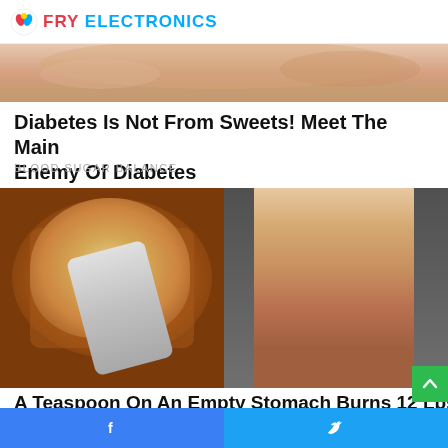FRY ELECTRONICS
[Figure (photo): Close-up banner image at top of page, appears to be skin or food texture in warm tones]
Diabetes Is Not From Sweets! Meet The Main Enemy Of Diabetes
BLOOD SUGAR BALANCE
[Figure (photo): Left: a bowl of reddish-brown spice powder with a measuring spoon (1 tsp). Right: a fit blonde woman in a red sports bra in a gym setting.]
A Teaspoon On An Empty Stomach Burns 12 Lbs
Facebook share | Twitter share social bar